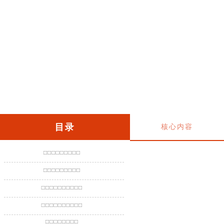目录
核心内容
□□□□□□□□□
□□□□□□□□□
□□□□□□□□□□
□□□□□□□□□□
□□□□□□□□